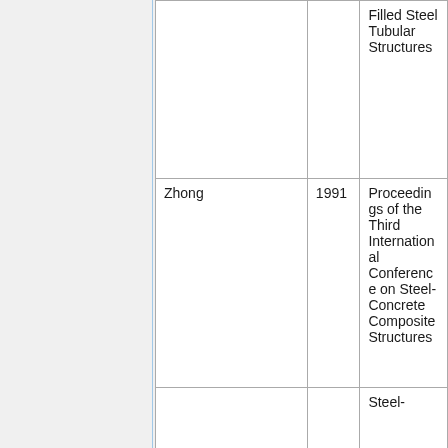| Author | Year | Publication |
| --- | --- | --- |
|  |  | Filled Steel Tubular Structures |
| Zhong | 1991 | Proceedings of the Third International Conference on Steel-Concrete Composite Structures |
|  |  | Steel- |